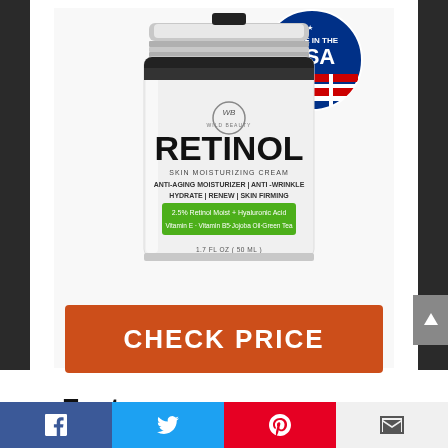[Figure (photo): Wild Beauty Retinol Skin Moisturizing Cream product jar with 'Made in the USA' badge. Label reads: RETINOL, SKIN MOISTURIZING CREAM, ANTI-AGING MOISTURIZER | ANTI-WRINKLE, HYDRATE | RENEW | SKIN FIRMING, 2.5% Retinol Moist + Hyaluronic Acid, Vitamin E + Vitamin B5+Jojoba Oil+Green Tea, 1.7 FL OZ (50 ML)]
CHECK PRICE
Feature